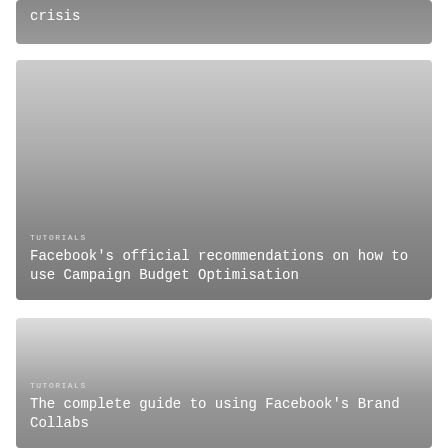[Figure (illustration): Top card partially visible showing text 'crisis' on dark gray gradient background]
crisis
[Figure (illustration): Middle card with gray gradient background, TUTORIALS label and title about Facebook Campaign Budget Optimisation]
TUTORIALS
Facebook's official recommendations on how to use Campaign Budget Optimisation
[Figure (illustration): Bottom card with light-to-dark gray gradient, TUTORIALS label and title about Facebook Brand Collabs]
TUTORIALS
The complete guide to using Facebook's Brand Collabs